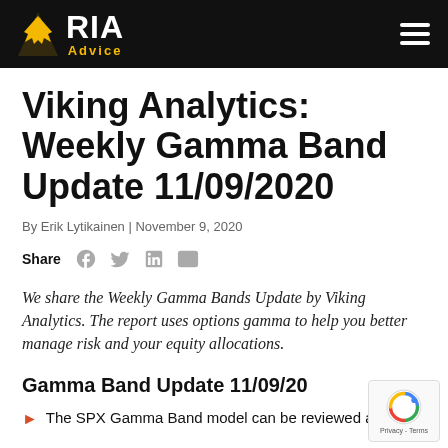RIA Advice
Viking Analytics: Weekly Gamma Band Update 11/09/2020
By Erik Lytikainen | November 9, 2020
Share
We share the Weekly Gamma Bands Update by Viking Analytics. The report uses options gamma to help you better manage risk and your equity allocations.
Gamma Band Update 11/09/20
The SPX Gamma Band model can be reviewed as